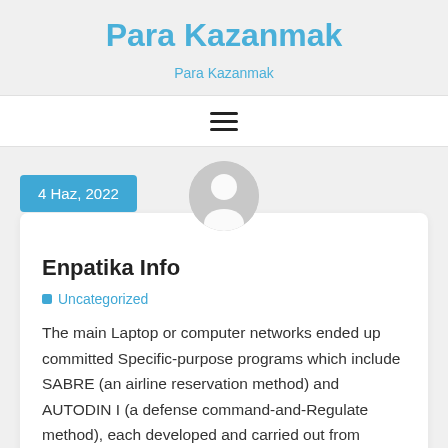Para Kazanmak
Para Kazanmak
[Figure (other): Hamburger menu icon (three horizontal lines)]
4 Haz, 2022
[Figure (illustration): Generic user avatar — grey circle with white person silhouette]
Enpatika Info
Uncategorized
The main Laptop or computer networks ended up committed Specific-purpose programs which include SABRE (an airline reservation method) and AUTODIN I (a defense command-and-Regulate method), each developed and carried out from